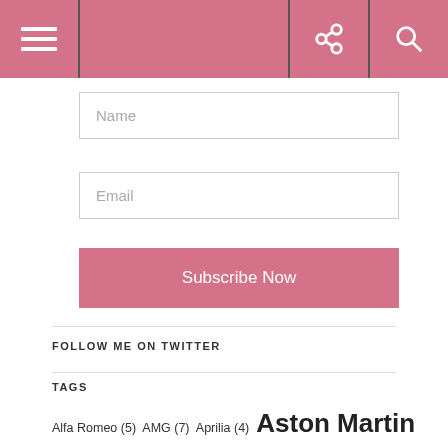Navigation header with menu, social, and search icons
Name
Email
Subscribe Now
FOLLOW ME ON TWITTER
TAGS
Alfa Romeo (5) AMG (7) Aprilia (4) Aston Martin (21) Audi (49) Bentley